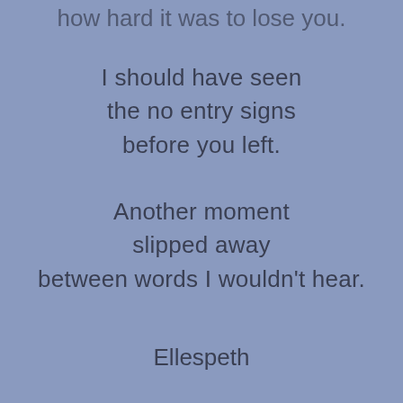how hard it was to lose you.
I should have seen
the no entry signs
before you left.
Another moment
slipped away
between words I wouldn't hear.
Ellespeth